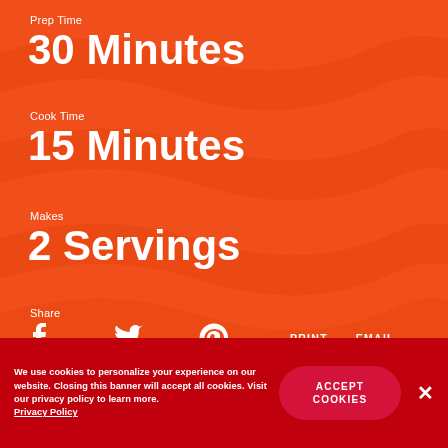Prep Time
30 Minutes
Cook Time
15 Minutes
Makes
2 Servings
Share
[Figure (infographic): Social share icons: Facebook, Twitter, Pinterest, PRINT, EMAIL]
We use cookies to personalize your experience on our website. Closing this banner will accept all cookies. Visit our privacy policy to learn more. Privacy Policy
ACCEPT COOKIES